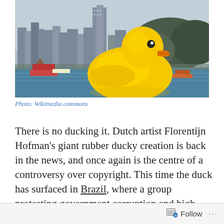[Figure (photo): A giant yellow rubber duck floating in a harbour with a city skyline and mountains in the background. Boats visible in the water. Overcast sky.]
Photo: Wikimedia commons
There is no ducking it. Dutch artist Florentijn Hofman's giant rubber ducky creation is back in the news, and once again is the centre of a controversy over copyright. This time the duck has surfaced in Brazil, where a group protesting government corruption and high taxes is using
Follow ···